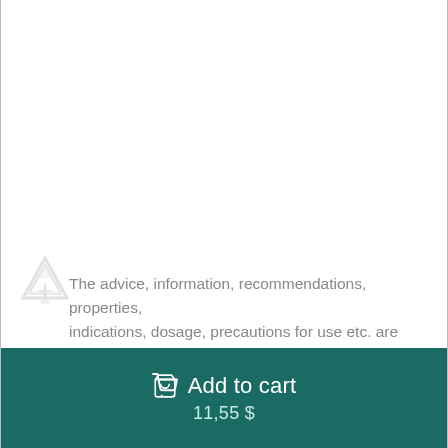[Figure (logo): Mountain/triangle logo watermark in light gray, partially visible at bottom left]
The advice, information, recommendations, properties, indications, dosage, precautions for use etc. are
Add to cart
11,55 $